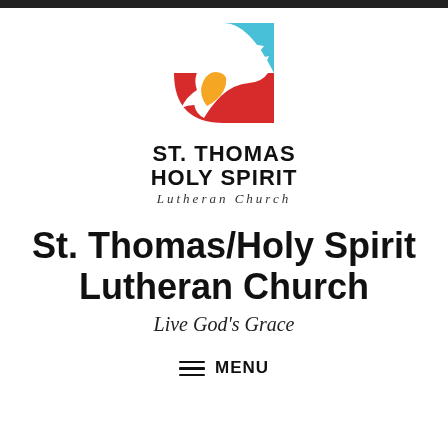[Figure (logo): St. Thomas Holy Spirit Lutheran Church logo: a white dove on a square background with red (bottom-left), sky blue (top), and orange teardrop accent.]
ST. THOMAS
HOLY SPIRIT
Lutheran Church
St. Thomas/Holy Spirit Lutheran Church
Live God's Grace
≡ MENU